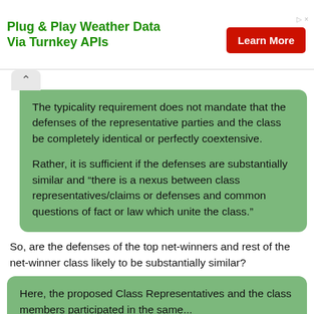[Figure (other): Advertisement banner: 'Plug & Play Weather Data Via Turnkey APIs' with a red 'Learn More' button and weather imagery in the background.]
The typicality requirement does not mandate that the defenses of the representative parties and the class be completely identical or perfectly coextensive.

Rather, it is sufficient if the defenses are substantially similar and “there is a nexus between class representatives/claims or defenses and common questions of fact or law which unite the class.”
So, are the defenses of the top net-winners and rest of the net-winner class likely to be substantially similar?
Here, the proposed Class Representatives and the class members participated in the same...